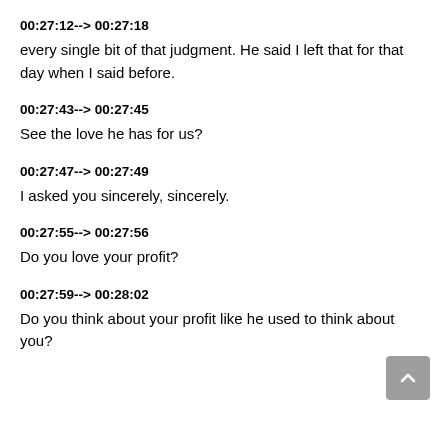00:27:12--> 00:27:18
every single bit of that judgment. He said I left that for that day when I said before.
00:27:43--> 00:27:45
See the love he has for us?
00:27:47--> 00:27:49
I asked you sincerely, sincerely.
00:27:55--> 00:27:56
Do you love your profit?
00:27:59--> 00:28:02
Do you think about your profit like he used to think about you?